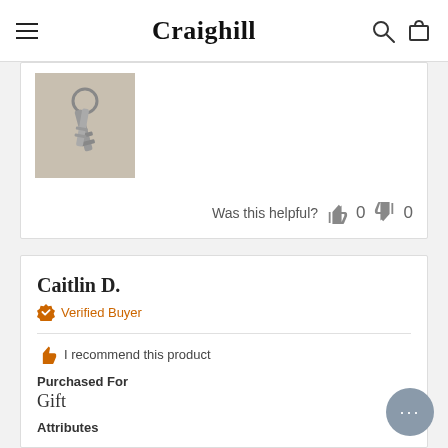Craighill
[Figure (photo): Photo of keys on a key ring, partial review card image]
Was this helpful? 👍 0 👎 0
Caitlin D.
Verified Buyer
I recommend this product
Purchased For
Gift
Attributes